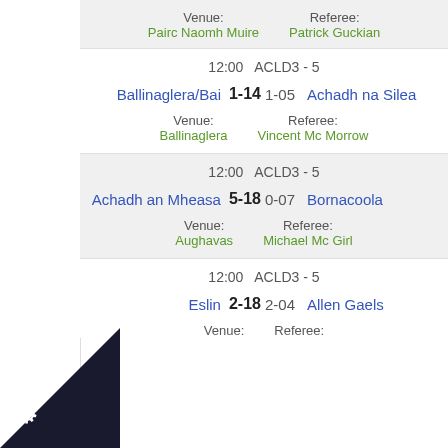Venue: Pairc Naomh Muire   Referee: Patrick Guckian
12:00   ACLD3 - 5
Ballinaglera/Bai   1-14   1-05   Achadh na Silea
Venue: Ballinaglera   Referee: Vincent Mc Morrow
12:00   ACLD3 - 5
Achadh an Mheasa   5-18   0-07   Bornacoola
Venue: Aughavas   Referee: Michael Mc Girl
12:00   ACLD3 - 5
Eslin   2-18   2-04   Allen Gaels
Venue:   Referee: